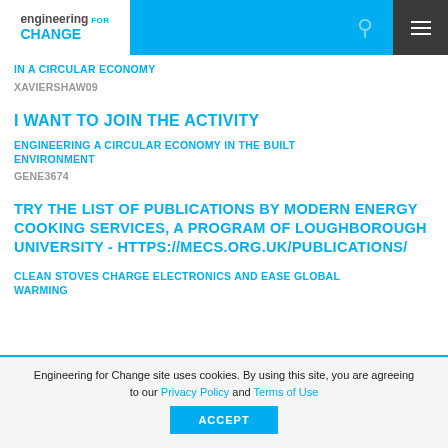[Figure (logo): Engineering for Change logo with search icon and hamburger menu in header bar]
IN A CIRCULAR ECONOMY
XAVIERSHAW09
I WANT TO JOIN THE ACTIVITY
ENGINEERING A CIRCULAR ECONOMY IN THE BUILT ENVIRONMENT
GENE3674
TRY THE LIST OF PUBLICATIONS BY MODERN ENERGY COOKING SERVICES, A PROGRAM OF LOUGHBOROUGH UNIVERSITY - HTTPS://MECS.ORG.UK/PUBLICATIONS/
CLEAN STOVES CHARGE ELECTRONICS AND EASE GLOBAL WARMING
Engineering for Change site uses cookies. By using this site, you are agreeing to our Privacy Policy and Terms of Use
ACCEPT